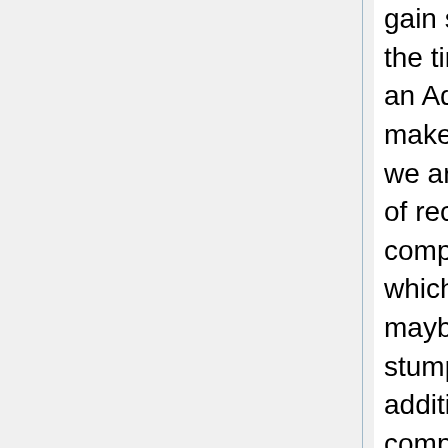gain slight accuracy gain while greatly increased the time spent. It is 381 times slower compared to an AdaBoost model on a small dataset which makes the actual usage of this model doubtable. If we are supplied with a larger dataset with millions of records this model would take too long to complete. The base classifier choice was XGBoost which is too complicated for a base classifier, maybe try some weaker learners such as tree stumps to compare the result with other models. In addition, this model might not be accurate compared to the model-ensembling technique where each model utilizes a different algorithm.
I think IP Boost can be helpful in cases where a small improvement in accuracy is worth the additional computational effort involved. For example, there are applications in finance and medicine...